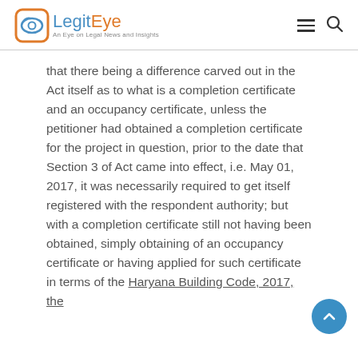LegitEye — An Eye on Legal News and Insights
that there being a difference carved out in the Act itself as to what is a completion certificate and an occupancy certificate, unless the petitioner had obtained a completion certificate for the project in question, prior to the date that Section 3 of Act came into effect, i.e. May 01, 2017, it was necessarily required to get itself registered with the respondent authority; but with a completion certificate still not having been obtained, simply obtaining of an occupancy certificate or having applied for such certificate in terms of the Haryana Building Code, 2017, the